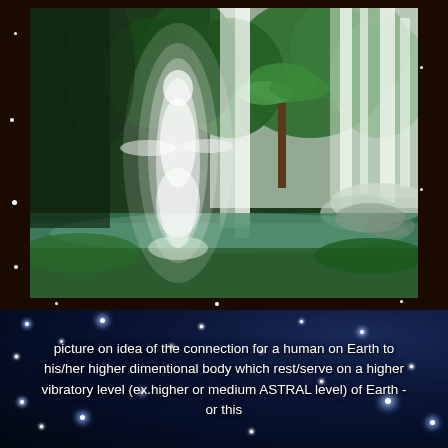[Figure (illustration): A glowing white ethereal human figure standing before a lush tropical waterfall scene with green vegetation, a serene pool, and misty cascading water. The illustration is set within a dark brownish-black border with small white star dots around it.]
picture on idea of the connection for a human on Earth to his/her higher dimentional body which rest/serve on a higher vibratory level (ex.higher or medium ASTRAL level) of Earth - or this